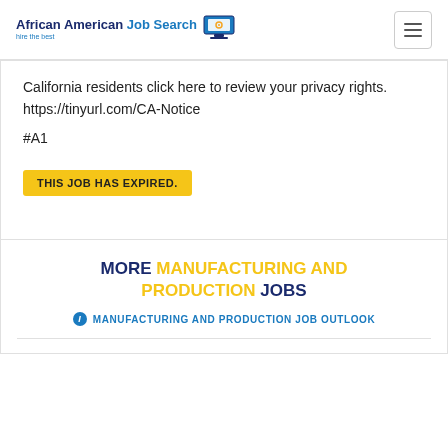African American Job Search — hire the best
California residents click here to review your privacy rights. https://tinyurl.com/CA-Notice
#A1
THIS JOB HAS EXPIRED.
MORE MANUFACTURING AND PRODUCTION JOBS
MANUFACTURING AND PRODUCTION JOB OUTLOOK